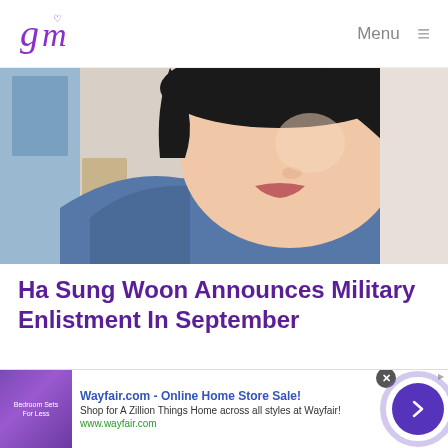Jazmine Media | Menu
[Figure (photo): Close-up photo of a young Asian man's face, wearing a denim jacket, taken from a slightly low angle. Background shows a door and light wall.]
Ha Sung Woon Announces Military Enlistment In September
August 19, 2022 2:14 pm
[Figure (other): Advertisement banner: Wayfair.com - Online Home Store Sale! Shop for A Zillion Things Home across all styles at Wayfair! www.wayfair.com]